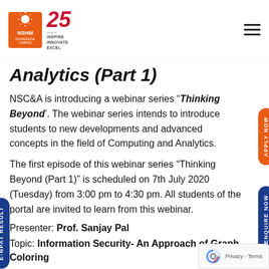NSHM Knowledge Campus - 25 Years - Inspire Innovate Excel
Analytics (Part 1)
NSC&A is introducing a webinar series “Thinking Beyond’. The webinar series intends to introduce students to new developments and advanced concepts in the field of Computing and Analytics.
The first episode of this webinar series “Thinking Beyond (Part 1)” is scheduled on 7th July 2020 (Tuesday) from 3:00 pm to 4:30 pm. All students of the portal are invited to learn from this webinar.
Presenter: Prof. Sanjay Pal
Topic: Information Security- An Approach of Graph Coloring
Sharing IP blocks in today’s competitive market places significant high security risks. Creators and owners of